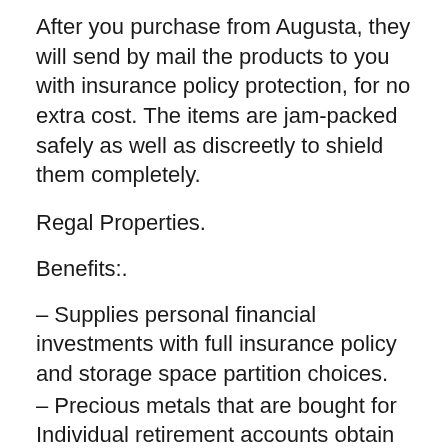After you purchase from Augusta, they will send by mail the products to you with insurance policy protection, for no extra cost. The items are jam-packed safely as well as discreetly to shield them completely.
Regal Properties.
Benefits:.
– Supplies personal financial investments with full insurance policy and storage space partition choices.
– Precious metals that are bought for Individual retirement accounts obtain saved in centers authorized by the IRS.
– Provides cryptocurrencies.